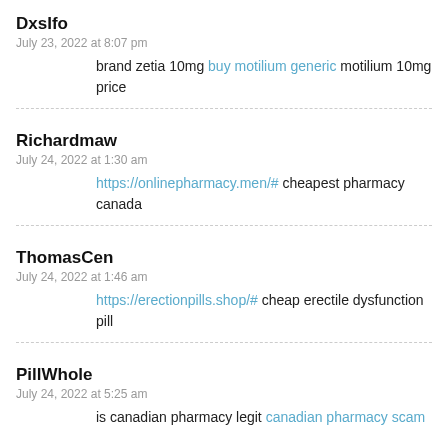DxsIfo
July 23, 2022 at 8:07 pm
brand zetia 10mg buy motilium generic motilium 10mg price
Richardmaw
July 24, 2022 at 1:30 am
https://onlinepharmacy.men/# cheapest pharmacy canada
ThomasCen
July 24, 2022 at 1:46 am
https://erectionpills.shop/# cheap erectile dysfunction pill
PillWhole
July 24, 2022 at 5:25 am
is canadian pharmacy legit canadian pharmacy scam